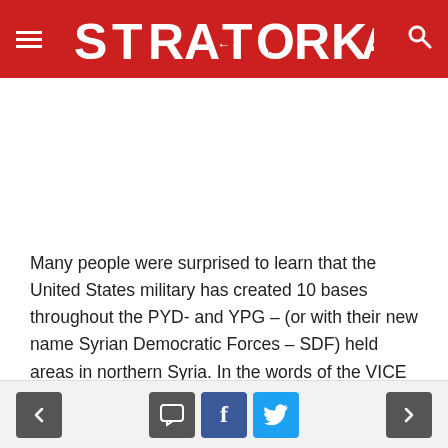STRATORKA
Many people were surprised to learn that the United States military has created 10 bases throughout the PYD- and YPG – (or with their new name Syrian Democratic Forces – SDF) held areas in northern Syria. In the words of the VICE News channel, the U.S. was “pissing off everyone” because it was caught with its proverbial pants
< comment f t >